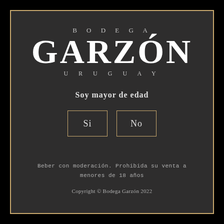BODEGA GARZÓN URUGUAY
Soy mayor de edad
[Figure (other): Two gold-bordered buttons labeled 'Si' and 'No' for age verification]
Beber con moderación. Prohibida su venta a menores de 18 años
Copyright © Bodega Garzón 2022